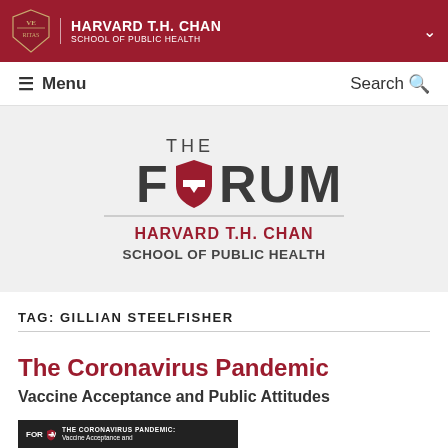HARVARD T.H. CHAN SCHOOL OF PUBLIC HEALTH
Menu   Search
[Figure (logo): The Forum at Harvard T.H. Chan School of Public Health logo — large THE FORUM text with red shield shape replacing the O, followed by HARVARD T.H. CHAN SCHOOL OF PUBLIC HEALTH in red and dark text]
TAG: GILLIAN STEELFISHER
The Coronavirus Pandemic
Vaccine Acceptance and Public Attitudes
[Figure (photo): Thumbnail image showing a crowd with The Forum logo overlay and text: THE CORONAVIRUS PANDEMIC: Vaccine Acceptance and]